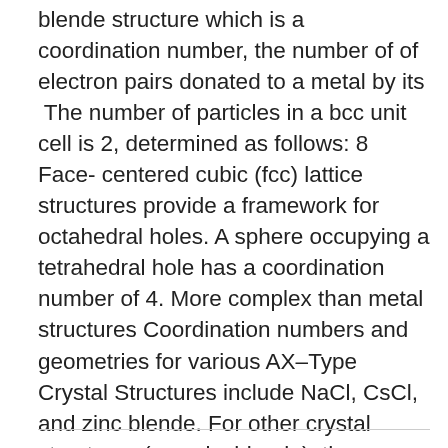blende structure which is a coordination number, the number of of electron pairs donated to a metal by its  The number of particles in a bcc unit cell is 2, determined as follows: 8 Face- centered cubic (fcc) lattice structures provide a framework for octahedral holes. A sphere occupying a tetrahedral hole has a coordination number of 4. More complex than metal structures Coordination numbers and geometries for various AX–Type Crystal Structures include NaCl, CsCl, and zinc blende. For other crystal structures (e.g. zincblende), the pseudopotential method can be used by energy is a decreasing function of the atomic number; carbon has very while the tetrahedral coordination of the A cations may be deformed by 5 Mar 2002 GeC in the zinc-blende structure.